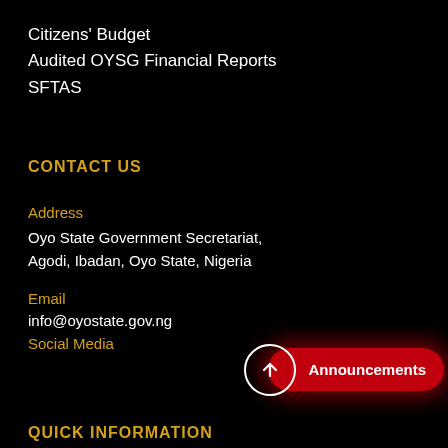Citizens' Budget
Audited OYSG Financial Reports
SFTAS
CONTACT US
Address
Oyo State Government Secretariat, Agodi, Ibadan, Oyo State, Nigeria
Email
info@oyostate.gov.ng
Social Media
[Figure (infographic): Social media icons: Twitter, Instagram, Facebook, YouTube in white rounded squares; Announcements button in red with circle arrow]
QUICK INFORMATION